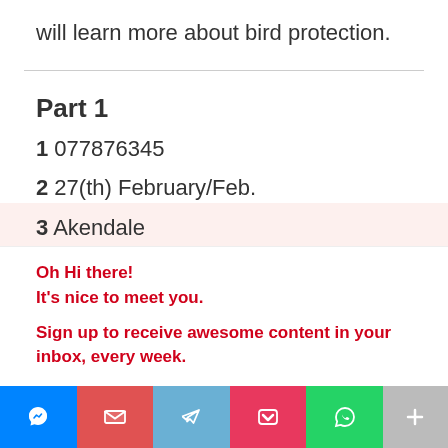will learn more about bird protection.
Part 1
1 077876345
2 27(th) February/Feb.
3 Akendale
Oh Hi there!
It's nice to meet you.
Sign up to receive awesome content in your inbox, every week.